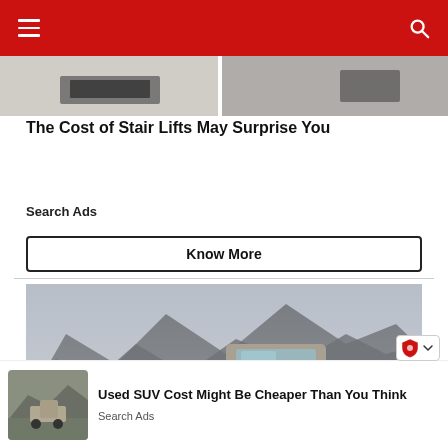Navigation bar with menu and search icons
[Figure (photo): Partial view of a top article image strip showing a desk/laptop scene]
The Cost of Stair Lifts May Surprise You
Search Ads
Know More
[Figure (photo): Toyota pickup truck parked in front of dramatic mountainous landscape under overcast sky]
[Figure (photo): Small thumbnail of SUV/pickup truck in a field with mountains]
Used SUV Cost Might Be Cheaper Than You Think
Search Ads